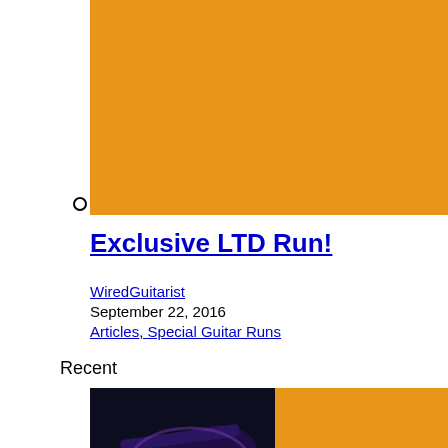[Figure (photo): Orange colored banner/image block at the top of the page]
Exclusive LTD Run!
WiredGuitarist
September 22, 2016
Articles, Special Guitar Runs
Recent
[Figure (photo): Dark image of a guitar body with purple/blue lighting over an orange background]